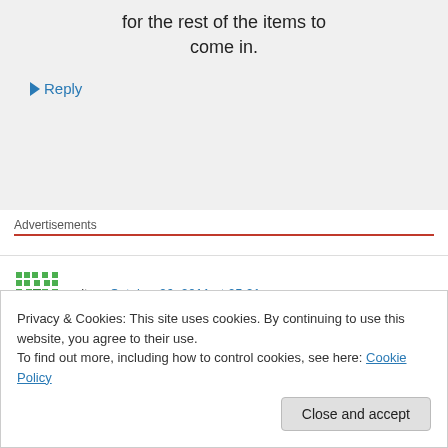for the rest of the items to come in.
↳ Reply
Advertisements
alt on October 26, 2011 at 05:21
BBTS is trustworthy and will get you the figures.
Privacy & Cookies: This site uses cookies. By continuing to use this website, you agree to their use. To find out more, including how to control cookies, see here: Cookie Policy
Close and accept